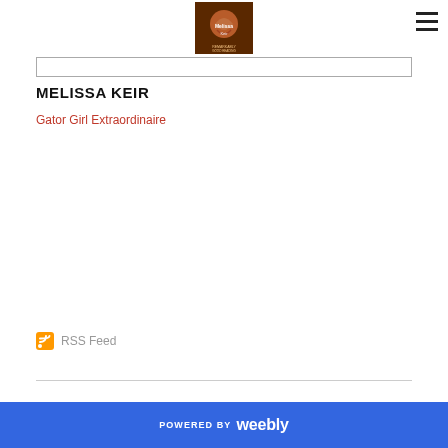Melissa Keir - Gator Girl Extraordinaire
MELISSA KEIR
Gator Girl Extraordinaire
RSS Feed
POWERED BY weebly